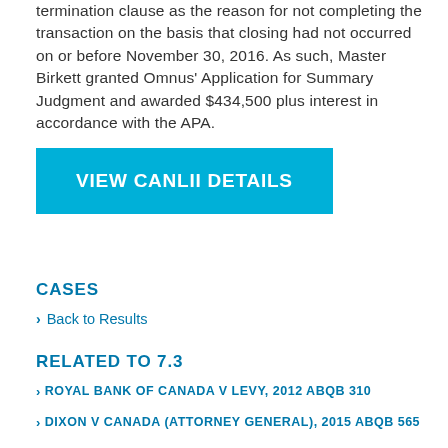termination clause as the reason for not completing the transaction on the basis that closing had not occurred on or before November 30, 2016. As such, Master Birkett granted Omnus' Application for Summary Judgment and awarded $434,500 plus interest in accordance with the APA.
VIEW CANLII DETAILS
CASES
Back to Results
RELATED TO 7.3
ROYAL BANK OF CANADA V LEVY, 2012 ABQB 310
DIXON V CANADA (ATTORNEY GENERAL), 2015 ABQB 565